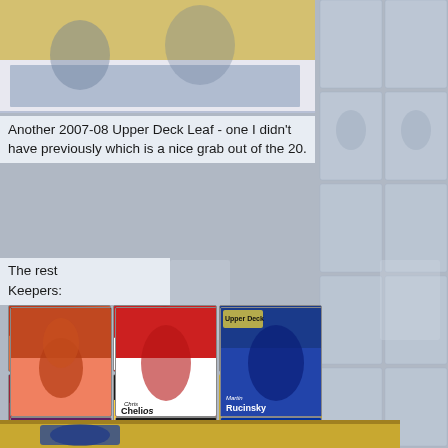[Figure (photo): Hockey card collage background with faded cards on right side and top card image showing player action shot]
Another 2007-08 Upper Deck Leaf - one I didn't have previously which is a nice grab out of the 20.
The rest
Keepers:
[Figure (photo): Six hockey cards arranged in 2 rows of 3: top row has an unnamed Flyers card, Chris Chelios (Detroit Red Wings), Martin Rucinsky (St. Louis Blues); bottom row has Scott Hannan (Colorado Avalanche), Philippe Boucher (Pittsburgh Penguins), O-Pee-Chee New York Rangers card]
[Figure (photo): Bottom gold-bordered strip partially visible]